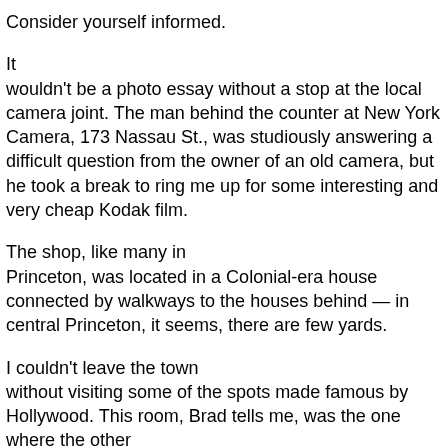Consider yourself informed.
It wouldn't be a photo essay without a stop at the local camera joint. The man behind the counter at New York Camera, 173 Nassau St., was studiously answering a difficult question from the owner of an old camera, but he took a break to ring me up for some interesting and very cheap Kodak film.
The shop, like many in Princeton, was located in a Colonial-era house connected by walkways to the houses behind — in central Princeton, it seems, there are few yards.
I couldn't leave the town without visiting some of the spots made famous by Hollywood. This room, Brad tells me, was the one where the other